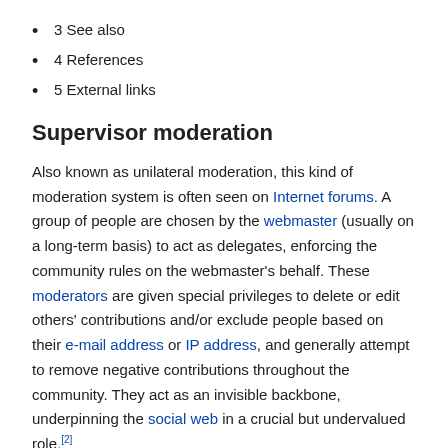3 See also
4 References
5 External links
Supervisor moderation
Also known as unilateral moderation, this kind of moderation system is often seen on Internet forums. A group of people are chosen by the webmaster (usually on a long-term basis) to act as delegates, enforcing the community rules on the webmaster's behalf. These moderators are given special privileges to delete or edit others' contributions and/or exclude people based on their e-mail address or IP address, and generally attempt to remove negative contributions throughout the community. They act as an invisible backbone, underpinning the social web in a crucial but undervalued role.[2]
In the case of Facebook, the company has increased the number of content moderators from 4,500 to 7,500 in 2017 due to legal and other controversies. In Germany, Facebook is